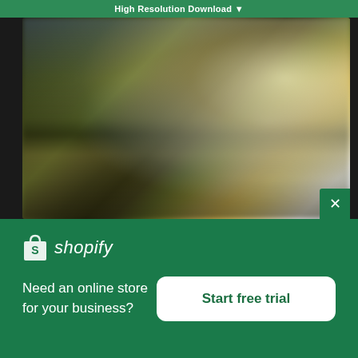High Resolution Download ▼
[Figure (photo): Blurred outdoor nature photo showing a lake or river scene with trees on the left, water reflections in the middle, and a bright sky with sunlight on the right side. The image is intentionally blurred/out of focus.]
[Figure (logo): Shopify logo — white shopping bag icon with an 'S' shape, followed by italic white text 'shopify' on a green background]
Need an online store for your business?
Start free trial